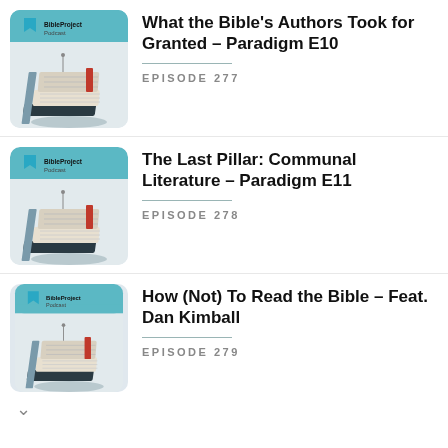[Figure (screenshot): BibleProject Podcast thumbnail showing stacked books illustration with teal background]
What the Bible's Authors Took for Granted – Paradigm E10
EPISODE 277
[Figure (screenshot): BibleProject Podcast thumbnail showing stacked books illustration with teal background]
The Last Pillar: Communal Literature – Paradigm E11
EPISODE 278
[Figure (screenshot): BibleProject Podcast thumbnail showing stacked books illustration with teal background]
How (Not) To Read the Bible – Feat. Dan Kimball
EPISODE 279